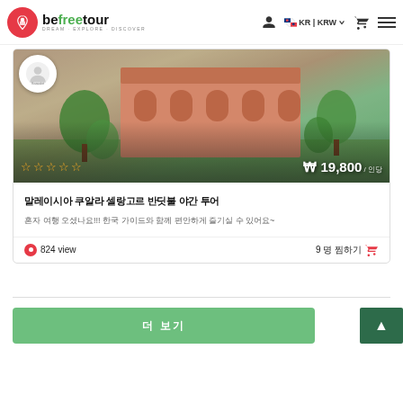befreetour DREAM·EXPLORE·DISCOVER | KR | KRW
[Figure (photo): Aerial view of a large pink/terracotta-colored building complex surrounded by palm trees and greenery, with a guide avatar overlay and star rating and price displayed]
★★★★★
₩ 19,800 / 인당
말레이시아 쿠알라 셀랑고르 반딧불 야간 투어
혼자 여행 오셨나요!!! 한국 가이드와 함께 편안하게 즐기실 수 있어요~
⊙ 824 view
9 명 찜하기 🛒
더 보기
▲